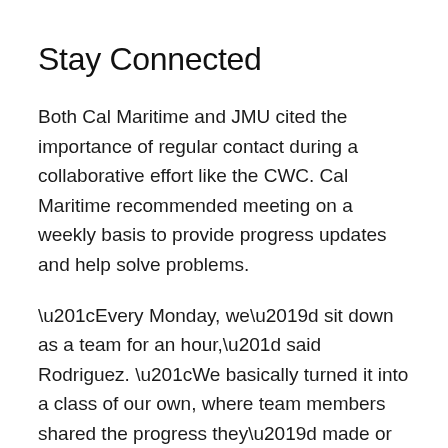Stay Connected
Both Cal Maritime and JMU cited the importance of regular contact during a collaborative effort like the CWC. Cal Maritime recommended meeting on a weekly basis to provide progress updates and help solve problems.
“Every Monday, we’d sit down as a team for an hour,” said Rodriguez. “We basically turned it into a class of our own, where team members shared the progress they’d made or shared difficulties they were having and see if we can solve it together as a team.”
Students have plenty of digital communication